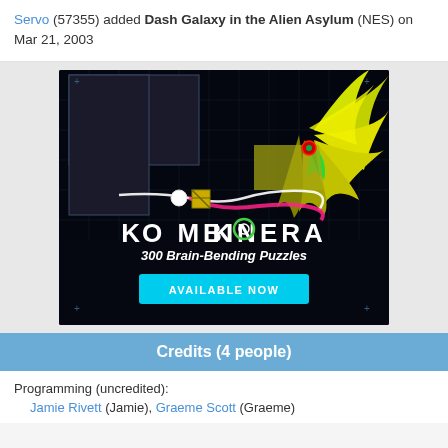Servo (57355) added Dash Galaxy in the Alien Asylum (NES) on Mar 21, 2003
[Figure (screenshot): Advertisement for Kombinera game showing neon puzzle game screenshot with 'KOMBINERA - 300 Brain-Bending Puzzles - AVAILABLE NOW' text]
Credits (4 people)
Programming (uncredited):
Jamie Rivett (Jamie), Graeme Scott (Graeme)